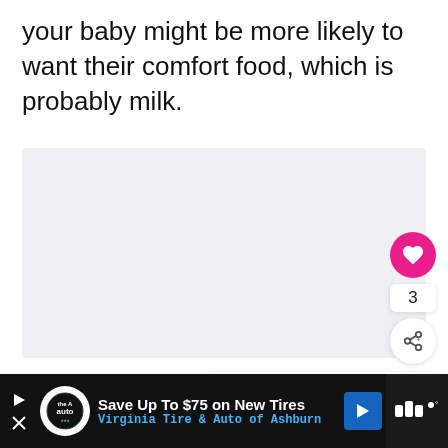your baby might be more likely to want their comfort food, which is probably milk.
[Figure (photo): Large image area below text, light gray background placeholder for a photo]
[Figure (infographic): UI overlay on image: pink heart button showing 3 likes, share button, and a 'What's Next' card showing a baby photo with text 'Does Your Baby Drink...']
WHAT'S NEXT → Does Your Baby Drink...
Save Up To $75 on New Tires Virginia Tire & Auto of Ashburn